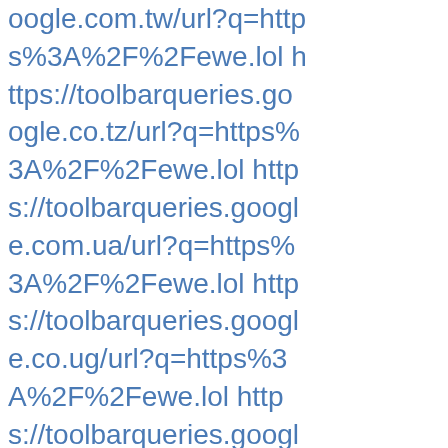oogle.com.tw/url?q=https%3A%2F%2Fewe.lol https://toolbarqueries.google.co.tz/url?q=https%3A%2F%2Fewe.lol https://toolbarqueries.google.com.ua/url?q=https%3A%2F%2Fewe.lol https://toolbarqueries.google.co.ug/url?q=https%3A%2F%2Fewe.lol https://toolbarqueries.google.co.uk/url?q=https%3A%2F%2Fewe.lol https://toolbarqueries.google.com/url?q=https%3A%2F%2Fewe.lol https://toolbarqueries.google.com.uy/url?q=https%3A%2F%2Fewe.lol https://toolbarqueries.google.co.uz/url?q=https%3A%2F%2Fewe.lol https://toolbarqueries.google.com.vc/url?q=https%3A%2F%2F